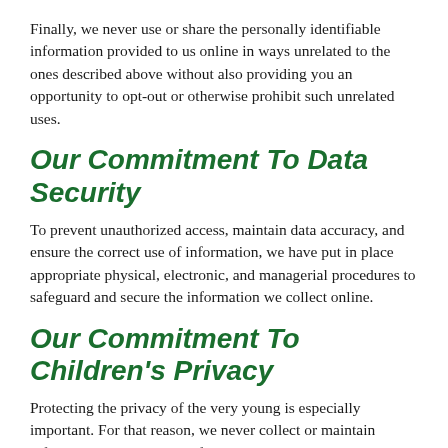Finally, we never use or share the personally identifiable information provided to us online in ways unrelated to the ones described above without also providing you an opportunity to opt-out or otherwise prohibit such unrelated uses.
Our Commitment To Data Security
To prevent unauthorized access, maintain data accuracy, and ensure the correct use of information, we have put in place appropriate physical, electronic, and managerial procedures to safeguard and secure the information we collect online.
Our Commitment To Children's Privacy
Protecting the privacy of the very young is especially important. For that reason, we never collect or maintain information at our website from those we actually know